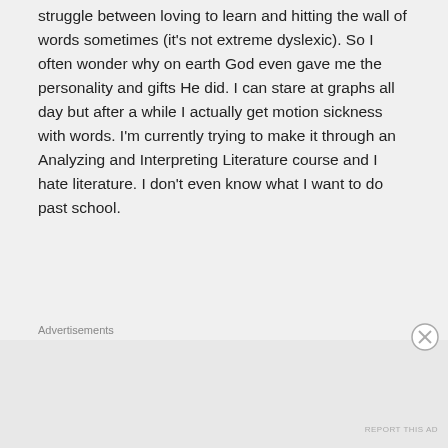struggle between loving to learn and hitting the wall of words sometimes (it's not extreme dyslexic). So I often wonder why on earth God even gave me the personality and gifts He did. I can stare at graphs all day but after a while I actually get motion sickness with words. I'm currently trying to make it through an Analyzing and Interpreting Literature course and I hate literature. I don't even know what I want to do past school.
Advertisements